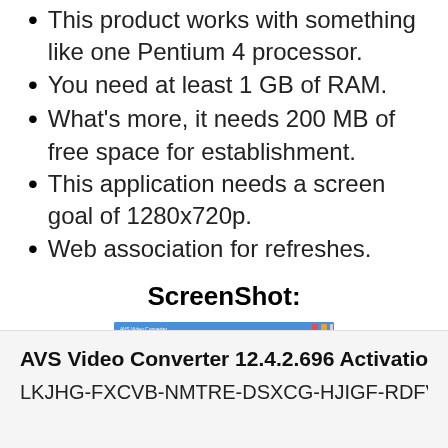This product works with something like one Pentium 4 processor.
You need at least 1 GB of RAM.
What's more, it needs 200 MB of free space for establishment.
This application needs a screen goal of 1280x720p.
Web association for refreshes.
ScreenShot:
[Figure (screenshot): Screenshot of AVS Video Converter software interface showing toolbar with icons and conversion settings]
AVS Video Converter 12.4.2.696 Activation C
LKJHG-FXCVB-NMTRE-DSXCG-HJIGF-RDFVC-CFC